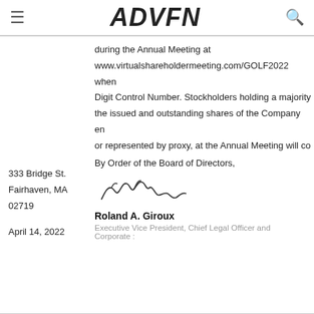ADVFN
during the Annual Meeting at www.virtualshareholdermeeting.com/GOLF2022 when Digit Control Number. Stockholders holding a majority the issued and outstanding shares of the Company en or represented by proxy, at the Annual Meeting will co
333 Bridge St.
Fairhaven, MA
02719
April 14, 2022
By Order of the Board of Directors,
[Figure (illustration): Handwritten signature of Roland A. Giroux]
Roland A. Giroux
Executive Vice President, Chief Legal Officer and Corporate :